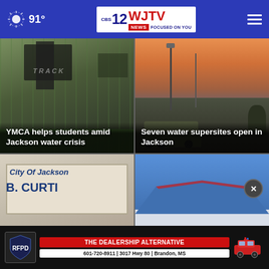91° | WJTV 12 News Focused on You
[Figure (photo): YMCA helps students amid Jackson water crisis - outdoor track/event photo]
[Figure (photo): Seven water supersites open in Jackson - military water tanker trucks at sunset]
[Figure (photo): City of Jackson sign with EPA text visible]
[Figure (photo): Lowe's store exterior with blue roof and signage]
YMCA helps students amid Jackson water crisis
Seven water supersites open in Jackson
THE DEALERSHIP ALTERNATIVE | RFPD | 601-720-8911 | 3017 Hwy 80 | Brandon, MS